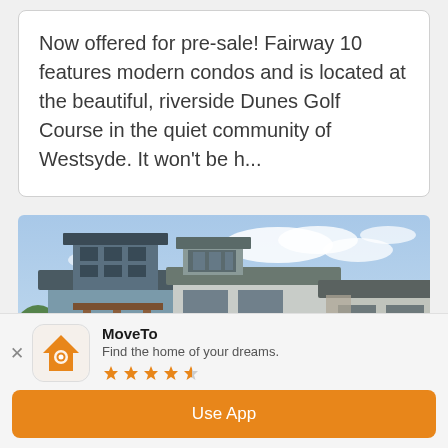Now offered for pre-sale! Fairway 10 features modern condos and is located at the beautiful, riverside Dunes Golf Course in the quiet community of Westsyde. It won't be h...
[Figure (photo): Exterior render of a modern multi-storey condo building with balconies, wood accents, and large windows, set against a blue sky with clouds.]
MoveTo - Find the home of your dreams. (4-star rating) Use App button